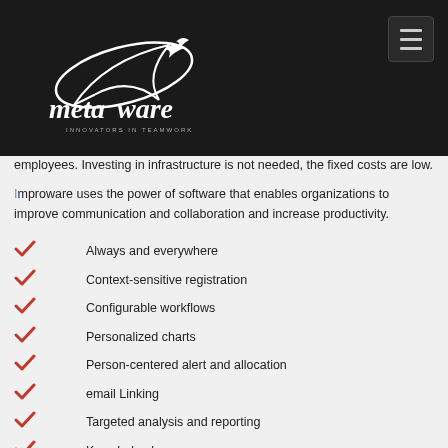metaware - INNOVATORS IN TEAMWORK
employees. Investing in infrastructure is not needed, the fixed costs are low.
Improware uses the power of software that enables organizations to improve communication and collaboration and increase productivity.
Always and everywhere
Context-sensitive registration
Configurable workflows
Personalized charts
Person-centered alert and allocation
email Linking
Targeted analysis and reporting
Knowledge base
Corporate identity and portal options